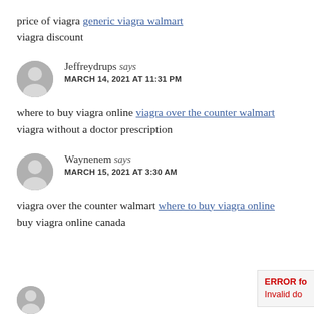price of viagra generic viagra walmart
viagra discount
Jeffreydrups says
MARCH 14, 2021 AT 11:31 PM
where to buy viagra online viagra over the counter walmart
viagra without a doctor prescription
Waynenem says
MARCH 15, 2021 AT 3:30 AM
viagra over the counter walmart where to buy viagra online
buy viagra online canada
ERROR for
Invalid do